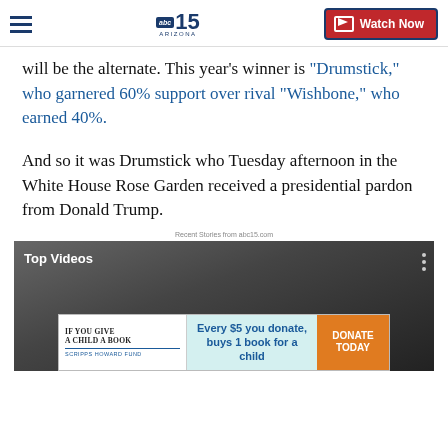ABC15 Arizona — Watch Now
will be the alternate. This year's winner is "Drumstick," who garnered 60% support over rival "Wishbone," who earned 40%.
And so it was Drumstick who Tuesday afternoon in the White House Rose Garden received a presidential pardon from Donald Trump.
Recent Stories from abc15.com
[Figure (screenshot): Top Videos section with an advertisement banner reading: IF YOU GIVE A CHILD A BOOK / SCRIPPS HOWARD FUND — Every $5 you donate, buys 1 book for a child — DONATE TODAY]